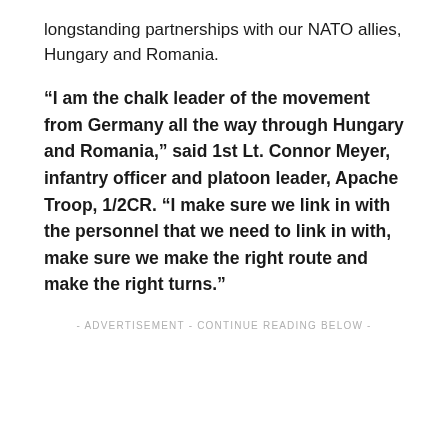longstanding partnerships with our NATO allies, Hungary and Romania.
“I am the chalk leader of the movement from Germany all the way through Hungary and Romania,” said 1st Lt. Connor Meyer, infantry officer and platoon leader, Apache Troop, 1/2CR. “I make sure we link in with the personnel that we need to link in with, make sure we make the right route and make the right turns.”
- ADVERTISEMENT - CONTINUE READING BELOW -